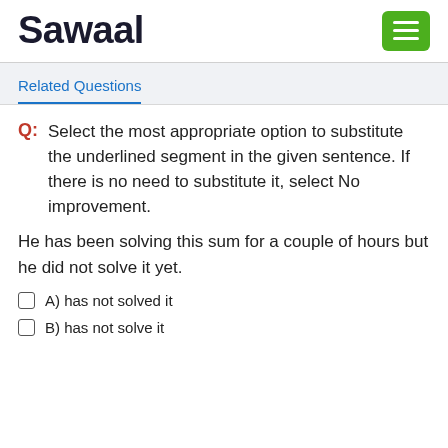Sawaal
Related Questions
Q: Select the most appropriate option to substitute the underlined segment in the given sentence. If there is no need to substitute it, select No improvement.

He has been solving this sum for a couple of hours but he did not solve it yet.
A) has not solved it
B) has not solve it